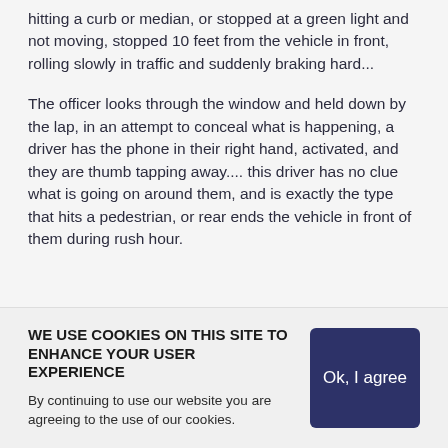hitting a curb or median, or stopped at a green light and not moving, stopped 10 feet from the vehicle in front, rolling slowly in traffic and suddenly braking hard...
The officer looks through the window and held down by the lap, in an attempt to conceal what is happening, a driver has the phone in their right hand, activated, and they are thumb tapping away.... this driver has no clue what is going on around them, and is exactly the type that hits a pedestrian, or rear ends the vehicle in front of them during rush hour.
WE USE COOKIES ON THIS SITE TO ENHANCE YOUR USER EXPERIENCE
By continuing to use our website you are agreeing to the use of our cookies.